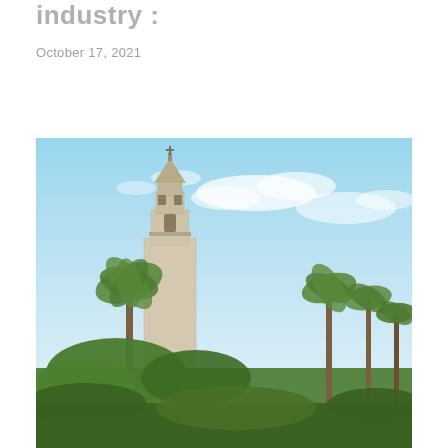industry :
October 17, 2021
[Figure (photo): Outdoor photo of a historic Spanish colonial revival tower (likely California Tower at Balboa Park, San Diego) surrounded by palm trees and tropical greenery under a bright blue sky with wispy white clouds.]